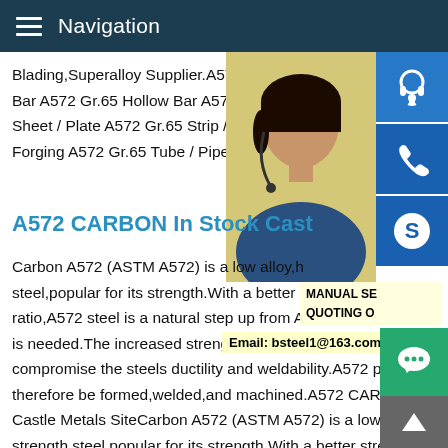Navigation
Blading,Superalloy Supplier.A572 Gr.65 R Bar A572 Gr.65 Hollow Bar A572 Gr.65 Tu Sheet / Plate A572 Gr.65 Strip / Coil A572 Forging A572 Gr.65 Tube / Pipe TEL:+86-:
[Figure (photo): Customer service representative woman with headset, yellow background]
A572 CARBON In Stock Cast
Carbon A572 (ASTM A572) is a low alloy,h steel,popular for its strength.With a better ratio,A572 steel is a natural step up from A is needed.The increased strength of A572 compromise the steels ductility and weldability.A572 plate can therefore be formed,welded,and machined.A572 CARBON In Stock Castle Metals SiteCarbon A572 (ASTM A572) is a low alloy,high strength steel,popular for its strength.With a better strength to weight ratio,A572 steel is a natural step up from A36 when mo strength is needed.The increased strength of A572 plate does
MANUAL SE QUOTING O
Email: bsteel1@163.com